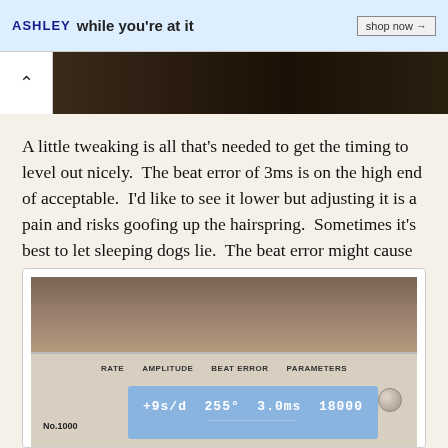[Figure (screenshot): Ashley furniture advertisement banner with 'while you're at it' text and 'shop now' button]
[Figure (photo): Partial dark photo strip with chevron/back button on left]
A little tweaking is all that's needed to get the timing to level out nicely.  The beat error of 3ms is on the high end of acceptable.  I'd like to see it lower but adjusting it is a pain and risks goofing up the hairspring.  Sometimes it's best to let sleeping dogs lie.  The beat error might cause the watch to stop running after 40 hours instead of 42 hours but other than that it's not too impactful.
[Figure (photo): Photo of a Timegrapher No.1000 device showing display reading '+9s/d 255° 3.0ms 18000' with labels RATE AMPLITUDE BEAT ERROR PARAMETERS]